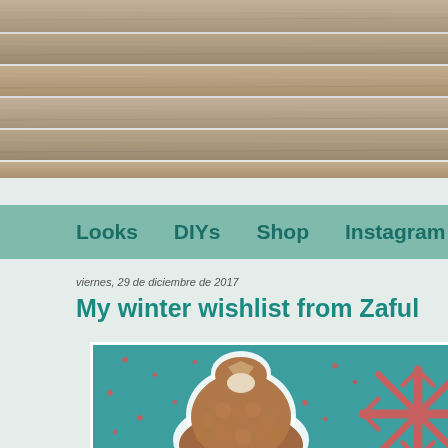[Figure (photo): Wood plank texture background header]
Looks   DIYs   Shop   Instagram   R
viernes, 29 de diciembre de 2017
My winter wishlist from Zaful
[Figure (photo): Brown teddy bear coat product photo on teal background with coral/pink snowflake decorations and scattered diamond dots]